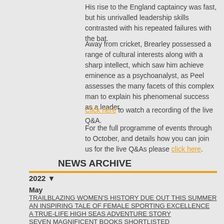His rise to the England captaincy was fast, but his unrivalled leadership skills contrasted with his repeated failures with the bat.
Away from cricket, Brearley possessed a range of cultural interests along with a sharp intellect, which saw him achieve eminence as a psychoanalyst, as Peel assesses the many facets of this complex man to explain his phenomenal success as a leader.
Click here to watch a recording of the live Q&A.
For the full programme of events through to October, and details how you can join us for the live Q&As please click here.
NEWS ARCHIVE
2022 ▼
May
TRAILBLAZING WOMEN'S HISTORY DUE OUT THIS SUMMER
AN INSPIRING TALE OF FEMALE SPORTING EXCELLENCE
A TRUE-LIFE HIGH SEAS ADVENTURE STORY
SEVEN MAGNIFICENT BOOKS SHORTLISTED
2021 ►